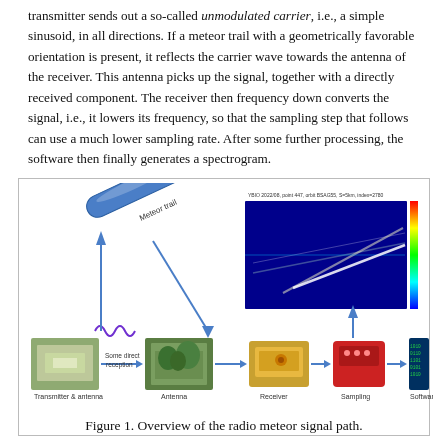transmitter sends out a so-called unmodulated carrier, i.e., a simple sinusoid, in all directions. If a meteor trail with a geometrically favorable orientation is present, it reflects the carrier wave towards the antenna of the receiver. This antenna picks up the signal, together with a directly received component. The receiver then frequency down converts the signal, i.e., it lowers its frequency, so that the sampling step that follows can use a much lower sampling rate. After some further processing, the software then finally generates a spectrogram.
[Figure (infographic): Diagram showing the radio meteor signal path. A cylindrical meteor trail at the top reflects waves down via arrows. A wavy line (radio wave) goes up from the transmitter. Components shown left to right at the bottom: Transmitter & antenna (photo of flat antenna), arrow labeled 'Some direct reception', Antenna (photo of field with trees), arrow to Receiver (photo of radio receiver), arrow to Sampling (red device), arrow to Software (binary code image). Upper right shows a spectrogram image with a colorbar. An arrow points from the spectrogram back toward the antenna.]
Figure 1. Overview of the radio meteor signal path.